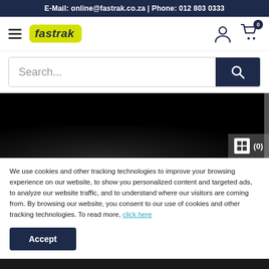E-Mail: online@fastrak.co.za | Phone: 012 803 0333
[Figure (screenshot): Fastrak website navigation bar with hamburger menu, Fastrak logo, user icon, and shopping cart with badge showing 0]
[Figure (screenshot): Search bar with placeholder text 'Search...' and dark blue search button with magnifying glass icon]
[Figure (photo): Dark/black hero banner image with faint shape visible, and a comparison button overlay on bottom right showing a grid icon and (0)]
We use cookies and other tracking technologies to improve your browsing experience on our website, to show you personalized content and targeted ads, to analyze our website traffic, and to understand where our visitors are coming from. By browsing our website, you consent to our use of cookies and other tracking technologies. To read more, click here
Accept